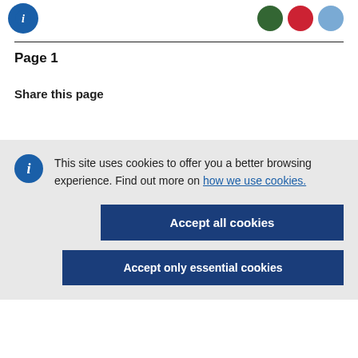[Figure (logo): Blue circle logo on left, three colored circles (green, red, light blue) on right in header bar]
Page 1
Share this page
This site uses cookies to offer you a better browsing experience. Find out more on how we use cookies.
Accept all cookies
Accept only essential cookies